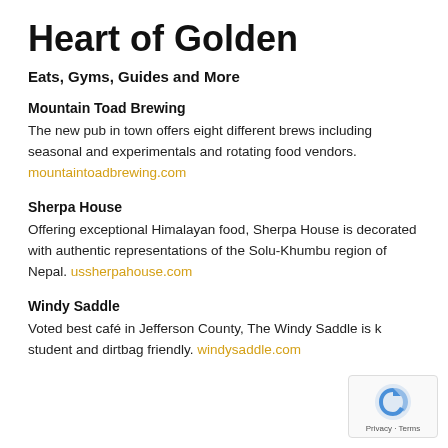Heart of Golden
Eats, Gyms, Guides and More
Mountain Toad Brewing
The new pub in town offers eight different brews including seasonal and experimentals and rotating food vendors. mountaintoadbrewing.com
Sherpa House
Offering exceptional Himalayan food, Sherpa House is decorated with authentic representations of the Solu-Khumbu region of Nepal. ussherpahouse.com
Windy Saddle
Voted best café in Jefferson County, The Windy Saddle is k… student and dirtbag friendly. windysaddle.com